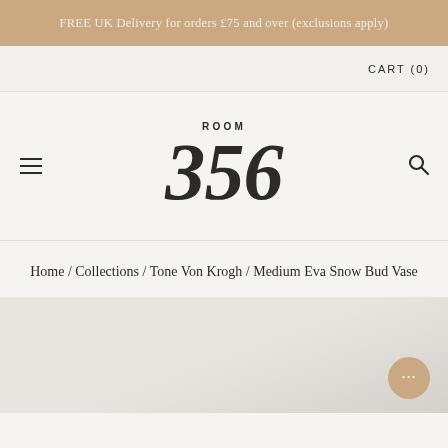FREE UK Delivery for orders £75 and over (exclusions apply)
CART (0)
[Figure (logo): Room 356 logo with stylized large italic numerals 356 and the word ROOM above in spaced capitals]
Home / Collections / Tone Von Krogh / Medium Eva Snow Bud Vase
[Figure (photo): Product image area showing a light grey/beige background, partial product photo of a bud vase]